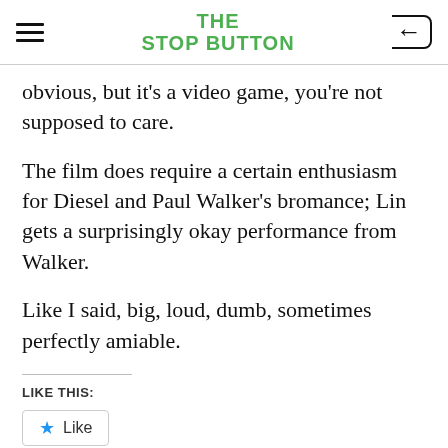THE STOP BUTTON
obvious, but it's a video game, you're not supposed to care.
The film does require a certain enthusiasm for Diesel and Paul Walker's bromance; Lin gets a surprisingly okay performance from Walker.
Like I said, big, loud, dumb, sometimes perfectly amiable.
LIKE THIS:
Like
Be the first to like this.